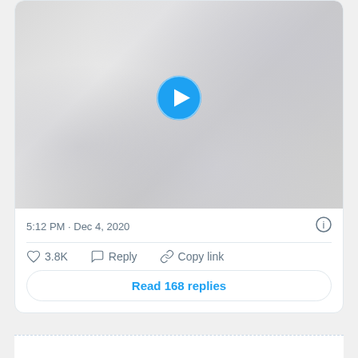[Figure (screenshot): Twitter/X post screenshot showing a video thumbnail with a blue play button, timestamp 5:12 PM Dec 4, 2020, like count 3.8K, Reply and Copy link actions, and a Read 168 replies button]
5:12 PM · Dec 4, 2020
♡ 3.8K   Reply   Copy link
Read 168 replies